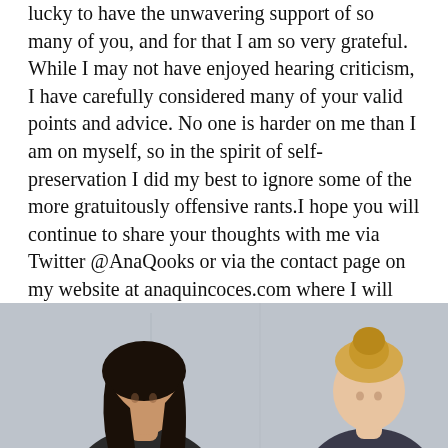lucky to have the unwavering support of so many of you, and for that I am so very grateful. While I may not have enjoyed hearing criticism, I have carefully considered many of your valid points and advice. No one is harder on me than I am on myself, so in the spirit of self-preservation I did my best to ignore some of the more gratuitously offensive rants.I hope you will continue to share your thoughts with me via Twitter @AnaQooks or via the contact page on my website at anaquincoces.com where I will continue to blog and post recipes.
Wishing all of you a beautiful holiday season filled with peace and surrounded by the love of your family and friends.
[Figure (photo): Two women photographed together, one with dark hair on the left and one with blonde hair on the right, against a light grey background.]